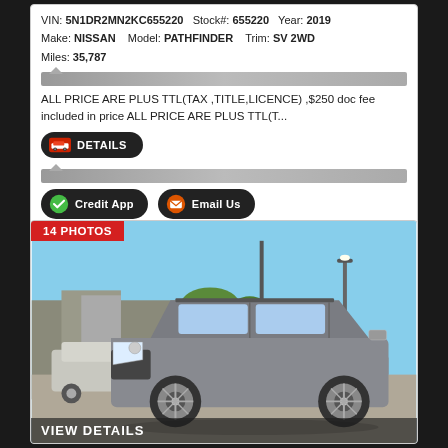VIN: 5N1DR2MN2KC655220   Stock#: 655220   Year: 2019
Make: NISSAN   Model: PATHFINDER   Trim: SV 2WD
Miles: 35,787
ALL PRICE ARE PLUS TTL(TAX ,TITLE,LICENCE) ,$250 doc fee included in price ALL PRICE ARE PLUS TTL(T...
[Figure (photo): 2019 Nissan Pathfinder SV 2WD gray SUV photographed at a dealership lot with blue sky background, showing front 3/4 view. Red badge shows '14 PHOTOS'. Bottom overlay reads 'VIEW DETAILS'.]